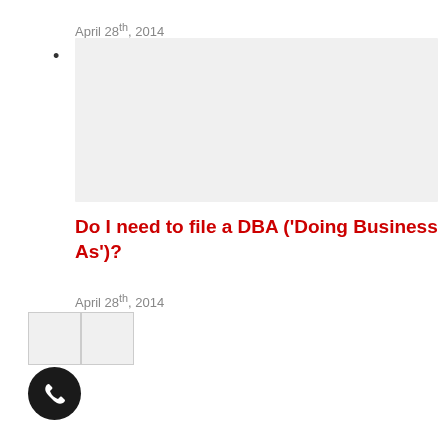April 28th, 2014
[Figure (other): Gray placeholder image box]
Do I need to file a DBA ('Doing Business As')?
April 28th, 2014
[Figure (other): Navigation buttons - two light gray square buttons side by side]
[Figure (other): Phone call button - dark circular button with phone icon]